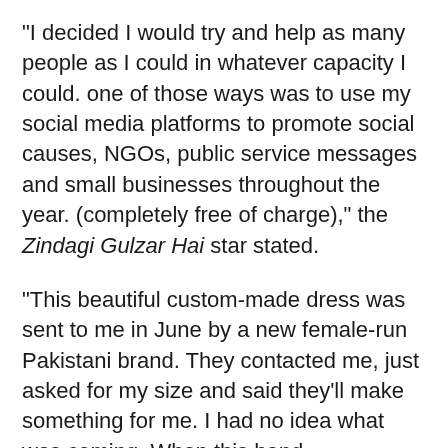"I decided I would try and help as many people as I could in whatever capacity I could. one of those ways was to use my social media platforms to promote social causes, NGOs, public service messages and small businesses throughout the year. (completely free of charge)," the Zindagi Gulzar Hai star stated.
"This beautiful custom-made dress was sent to me in June by a new female-run Pakistani brand. They contacted me, just asked for my size and said they'll make something for me. I had no idea what was coming. When this hand embellished, beaded number came, I fell in love with it."
"Also, it was sooooo comfortable and fit like a